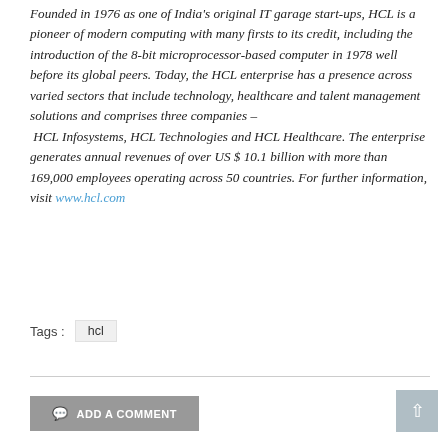Founded in 1976 as one of India's original IT garage start-ups, HCL is a pioneer of modern computing with many firsts to its credit, including the introduction of the 8-bit microprocessor-based computer in 1978 well before its global peers. Today, the HCL enterprise has a presence across varied sectors that include technology, healthcare and talent management solutions and comprises three companies – HCL Infosystems, HCL Technologies and HCL Healthcare. The enterprise generates annual revenues of over US $ 10.1 billion with more than 169,000 employees operating across 50 countries. For further information, visit www.hcl.com
Tags : hcl